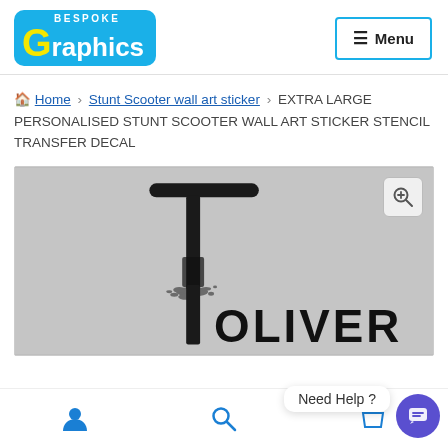[Figure (logo): Bespoke Graphics logo — blue rounded rectangle with yellow G and white text]
[Figure (other): Menu button with hamburger icon and border]
Home > Stunt Scooter wall art sticker > EXTRA LARGE PERSONALISED STUNT SCOOTER WALL ART STICKER STENCIL TRANSFER DECAL
[Figure (photo): Product photo: stunt scooter wall art sticker on grey wall showing name OLIVER in bold graffiti font with scooter graphic above]
[Figure (other): Bottom navigation bar with user icon, search icon, basket icon, Need Help chat bubble, and chat button]